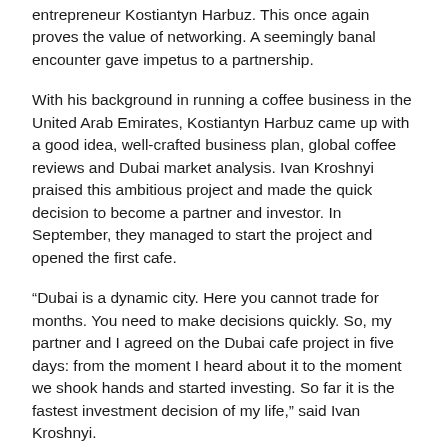entrepreneur Kostiantyn Harbuz. This once again proves the value of networking. A seemingly banal encounter gave impetus to a partnership.
With his background in running a coffee business in the United Arab Emirates, Kostiantyn Harbuz came up with a good idea, well-crafted business plan, global coffee reviews and Dubai market analysis. Ivan Kroshnyi praised this ambitious project and made the quick decision to become a partner and investor. In September, they managed to start the project and opened the first cafe.
“Dubai is a dynamic city. Here you cannot trade for months. You need to make decisions quickly. So, my partner and I agreed on the Dubai cafe project in five days: from the moment I heard about it to the moment we shook hands and started investing. So far it is the fastest investment decision of my life,” said Ivan Kroshnyi.